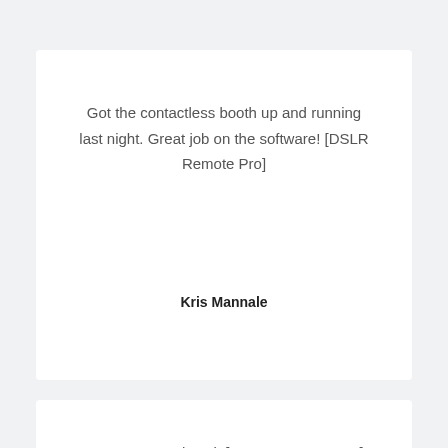Got the contactless booth up and running last night. Great job on the software! [DSLR Remote Pro]
Kris Mannale
Great program, I love it [BreezeBrowser Pro]. It has